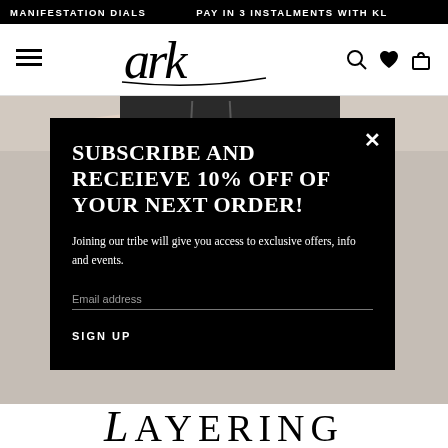MANIFESTATION DIALS   PAY IN 3 INSTALMENTS WITH KL
[Figure (logo): Stylized cursive 'ark' brand logo in the center of a white navigation bar, with hamburger menu icon on left and search, heart, bag icons on right]
[Figure (photo): Model wearing black outfit, partially visible behind popup modal]
SUBSCRIBE AND RECEIEVE 10% OFF OF YOUR NEXT ORDER!
Joining our tribe will give you access to exclusive offers, info and events.
Email address
SIGN UP
LAYERING